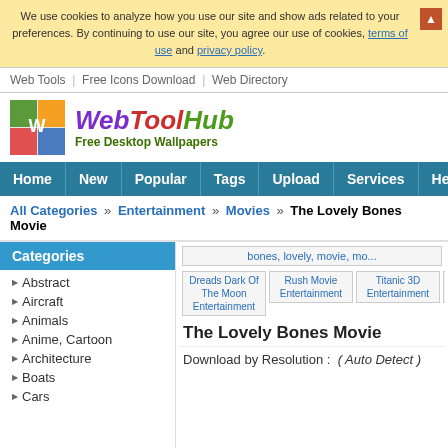We use cookies to analyze how you use our site and show ads related to your preferences. By continuing to use our site, you agree our use of cookies, terms of use and privacy policy.
Web Tools | Free Icons Download | Web Directory
[Figure (logo): WebToolHub logo with colorful image tiles and text 'WebToolHub Free Desktop Wallpapers']
Home | New | Popular | Tags | Upload | Services | Help
All Categories » Entertainment » Movies » The Lovely Bones Movie
Categories
Abstract
Aircraft
Animals
Anime, Cartoon
Architecture
Boats
Cars
[Figure (screenshot): Thumbnail images: bones lovely movie, Dreads Dark Of The Moon Entertainment, Rush Movie Entertainment, Titanic 3D Entertainment, No Hum Allowed Entertainment]
The Lovely Bones Movie
Download by Resolution : ( Auto Detect )